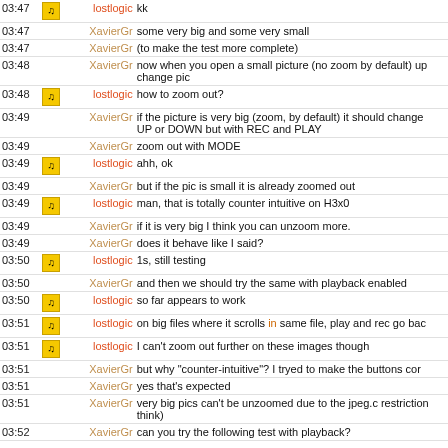| Time | Icon | Name | Message |
| --- | --- | --- | --- |
| 03:47 | icon | lostlogic | kk |
| 03:47 |  | XavierGr | some very big and some very small |
| 03:47 |  | XavierGr | (to make the test more complete) |
| 03:48 |  | XavierGr | now when you open a small picture (no zoom by default) up... change pic |
| 03:48 | icon | lostlogic | how to zoom out? |
| 03:49 |  | XavierGr | if the picture is very big (zoom, by default) it should change... UP or DOWN but with REC and PLAY |
| 03:49 |  | XavierGr | zoom out with MODE |
| 03:49 | icon | lostlogic | ahh, ok |
| 03:49 |  | XavierGr | but if the pic is small it is already zoomed out |
| 03:49 | icon | lostlogic | man, that is totally counter intuitive on H3x0 |
| 03:49 |  | XavierGr | if it is very big I think you can unzoom more. |
| 03:49 |  | XavierGr | does it behave like I said? |
| 03:50 | icon | lostlogic | 1s, still testing |
| 03:50 |  | XavierGr | and then we should try the same with playback enabled |
| 03:50 | icon | lostlogic | so far appears to work |
| 03:51 | icon | lostlogic | on big files where it scrolls in same file, play and rec go bac... |
| 03:51 | icon | lostlogic | I can't zoom out further on these images though |
| 03:51 |  | XavierGr | but why "counter-intuitive"? I tryed to make the buttons cor... |
| 03:51 |  | XavierGr | yes that's expected |
| 03:51 |  | XavierGr | very big pics can't be unzoomed due to the jpeg.c restriction... think) |
| 03:52 |  | XavierGr | can you try the following test with playback? |